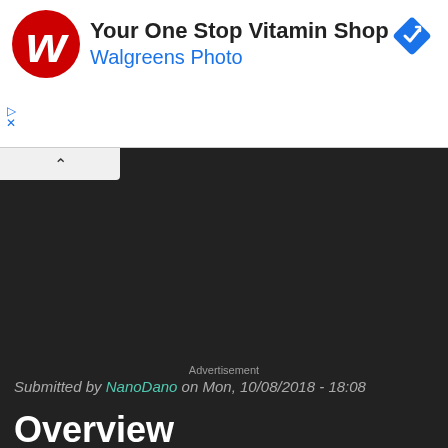[Figure (advertisement): Walgreens advertisement banner: Your One Stop Vitamin Shop with Walgreens Photo text and logo]
[Figure (screenshot): Dark background area of a web page with collapse tab arrow]
Advertisement
Submitted by NanoDano on Mon, 10/08/2018 - 18:08
Overview